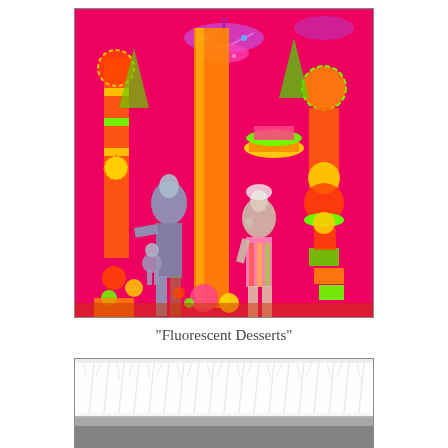[Figure (photo): A colorful, vibrant store window display titled 'Fluorescent Desserts'. Features two mannequins — one blue/silver on the left, one in a patterned dress on the right — surrounded by towering, neon-colored confectionery-themed decorations, oversized candy-like sculptures, chandeliers, and a vivid hot-pink background.]
"Fluorescent Desserts"
[Figure (photo): A partial view of a white fluffy fur-covered surface or bench, with a dark/silver bottom portion visible, against a light background. Appears to be the top portion of another store window display.]